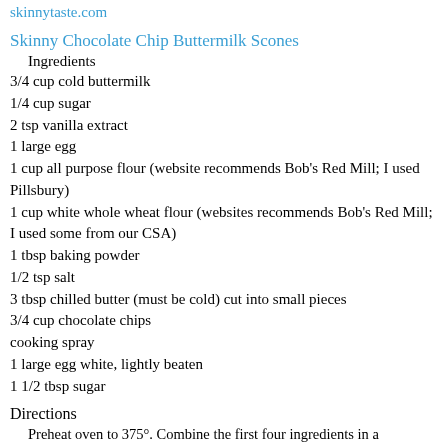skinnytaste.com
Skinny Chocolate Chip Buttermilk Scones
Ingredients
3/4 cup cold buttermilk
1/4 cup sugar
2 tsp vanilla extract
1 large egg
1 cup all purpose flour (website recommends Bob's Red Mill; I used Pillsbury)
1 cup white whole wheat flour (websites recommends Bob's Red Mill; I used some from our CSA)
1 tbsp baking powder
1/2 tsp salt
3 tbsp chilled butter (must be cold) cut into small pieces
3/4 cup chocolate chips
cooking spray
1 large egg white, lightly beaten
1 1/2 tbsp sugar
Directions
Preheat oven to 375°. Combine the first four ingredients in a